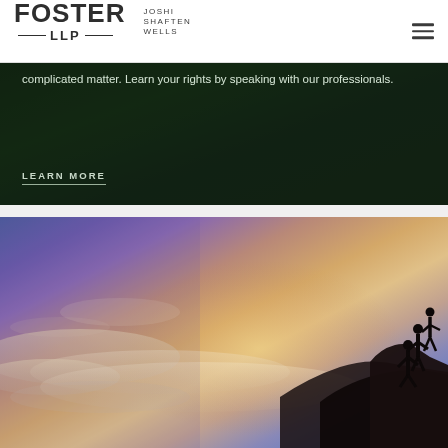FOSTER LLP — JOSHI SHAFTEN WELLS
complicated matter. Learn your rights by speaking with our professionals.
LEARN MORE
[Figure (photo): Silhouette of people helping each other climb on a rocky peak against a dramatic sunset/sunrise sky with purple, orange, and blue hues and clouds]